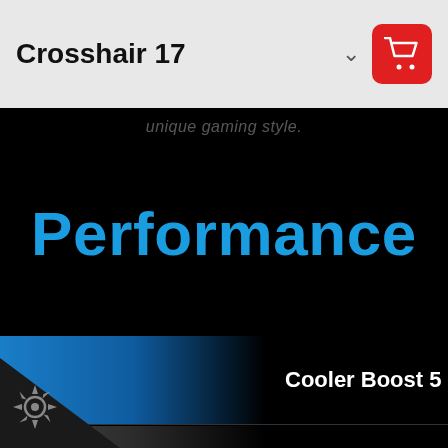Crosshair 17
unique gaming style.
Performance
Cooler Boost 5
DDR4 Memory